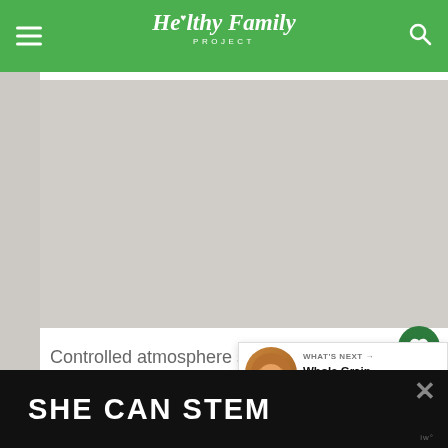Healthy Family PROJECT
[Figure (other): Gray advertisement placeholder area]
Controlled atmosphere storage is a non-chemical process that slows down the ripening process in order to keep Michigan Apples crisp
[Figure (other): What's Next panel showing Whole Grain Waffles with...]
[Figure (other): SHE CAN STEM bottom banner advertisement]